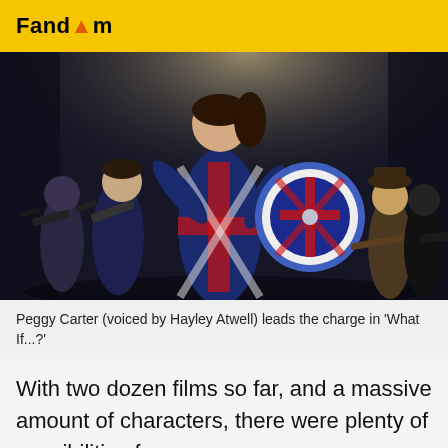Fandom
[Figure (illustration): Animated scene from 'What If...?' showing Peggy Carter in a Union Jack superhero suit holding a shield with a Union Jack pattern, flanked by soldiers with guns in a dark corridor with spotlight lighting.]
Peggy Carter (voiced by Hayley Atwell) leads the charge in 'What If...?'
With two dozen films so far, and a massive amount of characters, there were plenty of possibilities for